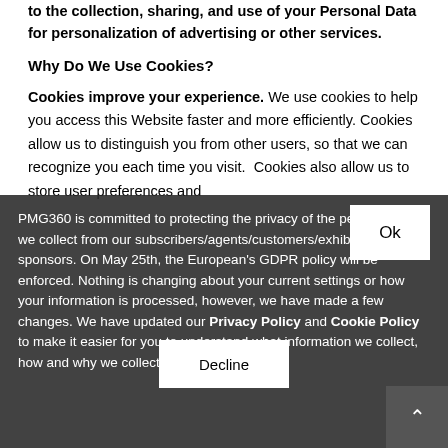to the collection, sharing, and use of your Personal Data for personalization of advertising or other services.
Why Do We Use Cookies?
Cookies improve your experience. We use cookies to help you access this Website faster and more efficiently. Cookies allow us to distinguish you from other users, so that we can recognize you each time you visit. Cookies also allow us to store user preferences and
PMG360 is committed to protecting the privacy of the personal data we collect from our subscribers/agents/customers/exhibitors and sponsors. On May 25th, the European's GDPR policy will be enforced. Nothing is changing about your current settings or how your information is processed, however, we have made a few changes. We have updated our Privacy Policy and Cookie Policy to make it easier for you to understand what information we collect, how and why we collect it.
personalize Website settings
Our marketing partners also collect web viewing data to ensure that you are seeing the most relevant advertising.
What Are Cookies?
computer, tablet or mobile device ('Computer') when you visit a website. A cookie will typically contain the name of the originating domain, the lifetime of the cookie, and a randomly generated unique number or other value.